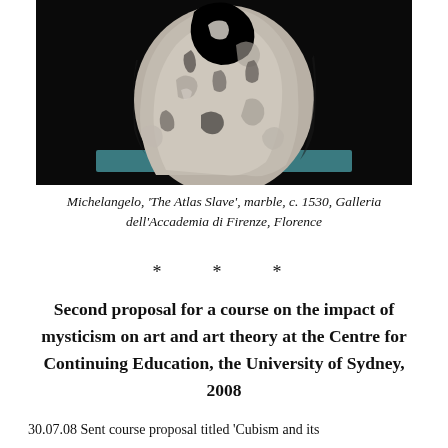[Figure (photo): Photograph of Michelangelo's unfinished marble sculpture 'The Atlas Slave', shown against a dark background, displayed on a teal/blue platform. The rough, partially carved stone form is visible with a human figure emerging from the marble.]
Michelangelo, 'The Atlas Slave', marble, c. 1530, Galleria dell'Accademia di Firenze, Florence
* * *
Second proposal for a course on the impact of mysticism on art and art theory at the Centre for Continuing Education, the University of Sydney, 2008
30.07.08 Sent course proposal titled 'Cubism and its